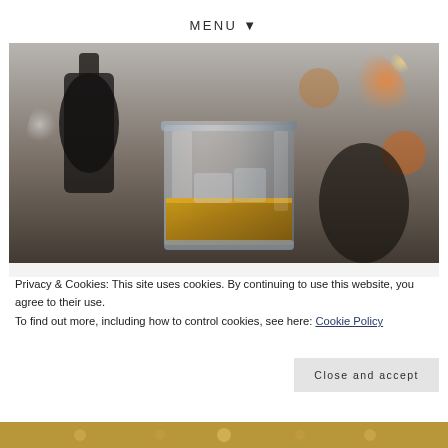MENU ▼
[Figure (photo): Close-up photo of a whisky glass with amber liquid, blurred dark background with warm orange bokeh lights]
Privacy & Cookies: This site uses cookies. By continuing to use this website, you agree to their use.
To find out more, including how to control cookies, see here: Cookie Policy
Close and accept